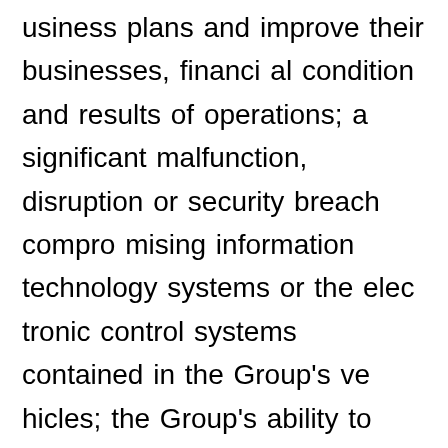usiness plans and improve their businesses, financial condition and results of operations; a significant malfunction, disruption or security breach compromising information technology systems or the electronic control systems contained in the Group's vehicles; the Group's ability to realize anticipated benefits from joint venture arrangements; disruptions arising from political, social and economic instability; risks associated with our relationships with employees, dealers and suppliers; increases in costs, disruptions of supply or shortages of raw materials; developments in labor and industrial relations and developments in applicable labor laws; exchange rate fluctuations, interest rate changes, credit risk and o